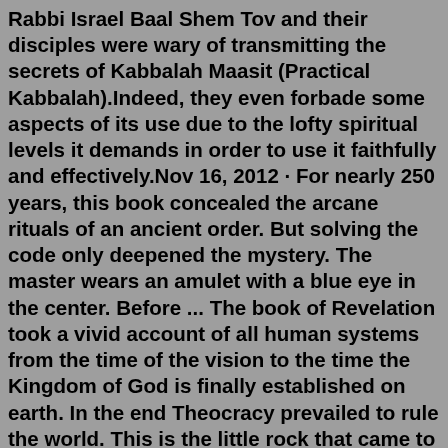Rabbi Israel Baal Shem Tov and their disciples were wary of transmitting the secrets of Kabbalah Maasit (Practical Kabbalah).Indeed, they even forbade some aspects of its use due to the lofty spiritual levels it demands in order to use it faithfully and effectively.Nov 16, 2012 · For nearly 250 years, this book concealed the arcane rituals of an ancient order. But solving the code only deepened the mystery. The master wears an amulet with a blue eye in the center. Before ... The book of Revelation took a vivid account of all human systems from the time of the vision to the time the Kingdom of God is finally established on earth. In the end Theocracy prevailed to rule the world. This is the little rock that came to hit the statue in Daniel 2:44. Nov 16, 2010 · Jay touches on miscarriage, his assault charge, Bono and more in the memoir/ lyrical breakdown. On Tuesday (November 16), Jay-Z released his book "Decoded," explaining the history behind some of ... Decoded Item Preview remove-circle Share or Embed This Item. Share to